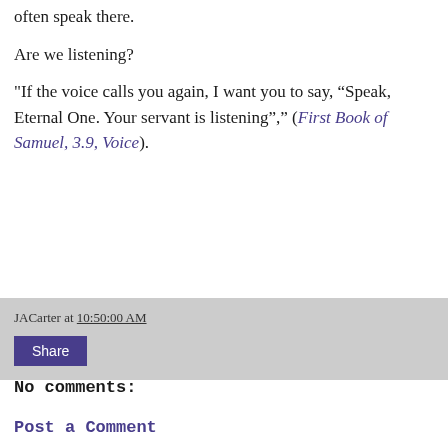often speak there.
Are we listening?
"If the voice calls you again, I want you to say, “Speak, Eternal One. Your servant is listening”," (First Book of Samuel, 3.9, Voice).
JACarter at 10:50:00 AM
Share
No comments:
Post a Comment